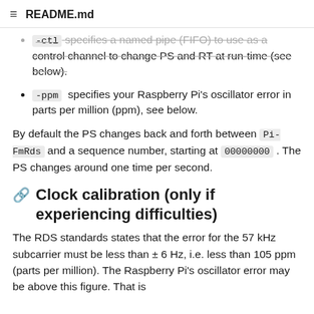README.md
-ctl specifies a named pipe (FIFO) to use as a control channel to change PS and RT at run-time (see below).
-ppm specifies your Raspberry Pi's oscillator error in parts per million (ppm), see below.
By default the PS changes back and forth between Pi-FmRds and a sequence number, starting at 00000000. The PS changes around one time per second.
Clock calibration (only if experiencing difficulties)
The RDS standards states that the error for the 57 kHz subcarrier must be less than ± 6 Hz, i.e. less than 105 ppm (parts per million). The Raspberry Pi's oscillator error may be above this figure. That is